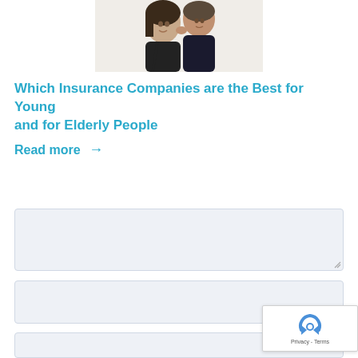[Figure (photo): A young couple — a woman and a man — posed together, looking at the camera, on a white background.]
Which Insurance Companies are the Best for Young and for Elderly People
Read more →
Comment
Name *
Mail *